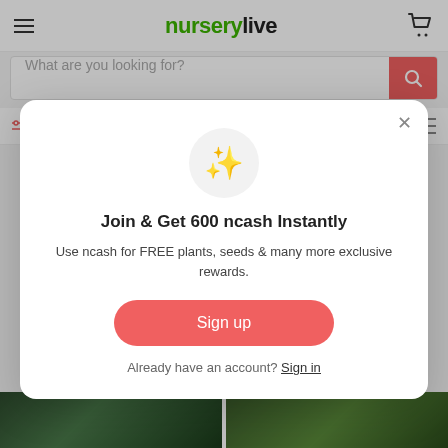nurserylive
What are you looking for?
Filters (1)   Sort by
[Figure (screenshot): Popup modal on nurserylive website with sparkle emoji icon, heading 'Join & Get 600 ncash Instantly', description text, Sign up button, and Sign in link]
Join & Get 600 ncash Instantly
Use ncash for FREE plants, seeds & many more exclusive rewards.
Sign up
Already have an account? Sign in